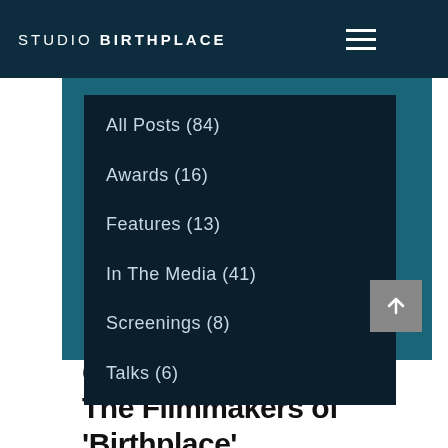STUDIO BIRTHPLACE
All Posts (84)
Awards (16)
Features (13)
In The Media (41)
Screenings (8)
Talks (6)
Jul 12, 2018
Creativity In Action – The Filmmakers of 'Birthplace'